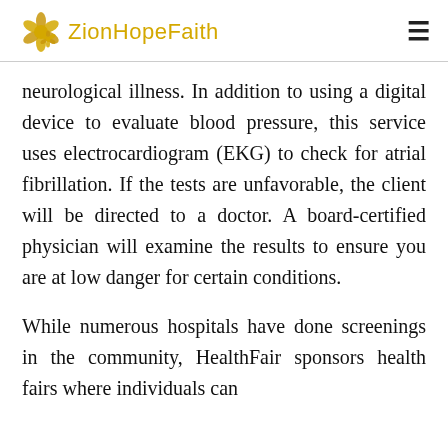ZionHopeFaith
neurological illness. In addition to using a digital device to evaluate blood pressure, this service uses electrocardiogram (EKG) to check for atrial fibrillation. If the tests are unfavorable, the client will be directed to a doctor. A board-certified physician will examine the results to ensure you are at low danger for certain conditions.
While numerous hospitals have done screenings in the community, HealthFair sponsors health fairs where individuals can